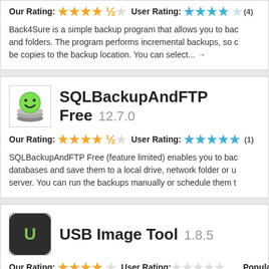Our Rating: ★★★★☆ User Rating: ★★★★☆ (4) Popularity:
Back4Sure is a simple backup program that allows you to bac... and folders. The program performs incremental backups, so c... be copies to the backup location. You can select... →
[Figure (logo): SQLBackupAndFTP application icon - green smiley face on stacked disks]
SQLBackupAndFTP Free 12.7.0
Our Rating: ★★★★☆ User Rating: ★★★★★ (1) Popularity:
SQLBackupAndFTP Free (feature limited) enables you to bac... databases and save them to a local drive, network folder or u... server. You can run the backups manually or schedule them t...
[Figure (logo): USB Image Tool icon - dark square with U letter in green]
USB Image Tool 1.8.5
Our Rating: ★★★★☆ User Rating: Popularity: